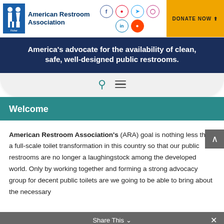American Restroom Association
America's advocate for the availability of clean, safe, well-designed public restrooms.
Welcome
American Restroom Association's (ARA) goal is nothing less than a full-scale toilet transformation in this country so that our public restrooms are no longer a laughingstock among the developed world. Only by working together and forming a strong advocacy group for decent public toilets are we going to be able to bring about the necessary